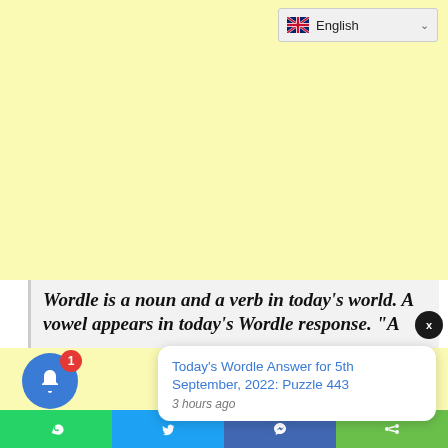[Figure (other): Light yellow advertisement/banner area placeholder]
English
Wordle is a noun and a verb in today’s world. A vowel appears in today’s Wordle response. “A
Today’s Wordle Answer for 5th September, 2022: Puzzle 443
3 hours ago